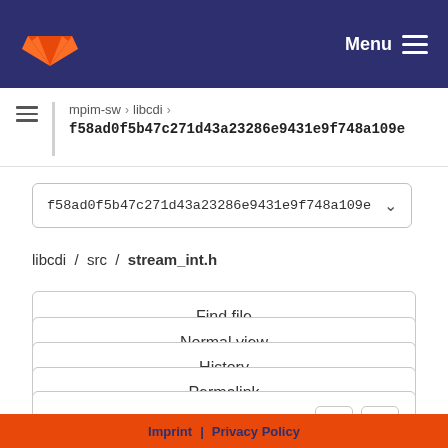GitLab — Menu
mpim-sw › libcdi › f58ad0f5b47c271d43a23286e9431e9f748a109e
f58ad0f5b47c271d43a23286e9431e9f748a109e
libcdi / src / stream_int.h
Find file
Normal view
History
Permalink
stream_int.h  6.82 KB
Imprint | Privacy Policy